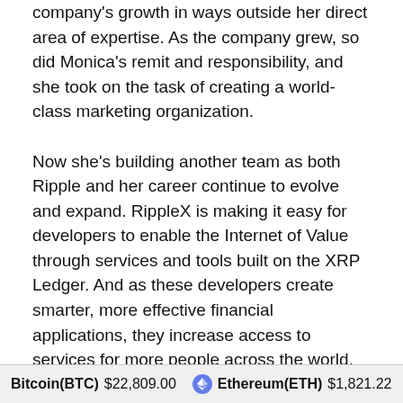company's growth in ways outside her direct area of expertise. As the company grew, so did Monica's remit and responsibility, and she took on the task of creating a world-class marketing organization.
Now she's building another team as both Ripple and her career continue to evolve and expand. RippleX is making it easy for developers to enable the Internet of Value through services and tools built on the XRP Ledger. And as these developers create smarter, more effective financial applications, they increase access to services for more people across the world.
One of the keys to Monica's development is that she is never afraid to throw her hat into the ring when an opportunity arises, even if she doesn't have all of the
Bitcoin(BTC) $22,809.00   Ethereum(ETH) $1,821.22   XRP(